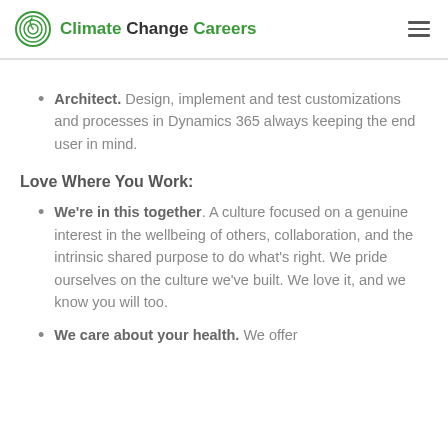Climate Change Careers
Architect. Design, implement and test customizations and processes in Dynamics 365 always keeping the end user in mind.
Love Where You Work:
We're in this together. A culture focused on a genuine interest in the wellbeing of others, collaboration, and the intrinsic shared purpose to do what's right. We pride ourselves on the culture we've built. We love it, and we know you will too.
We care about your health. We offer